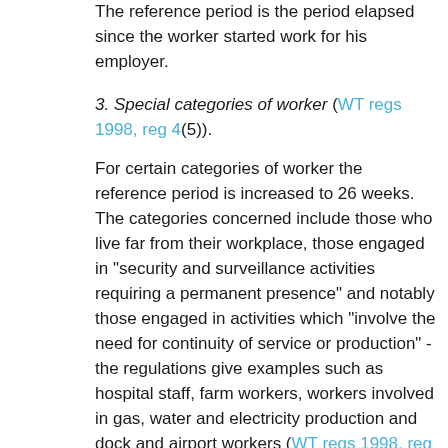The reference period is the period elapsed since the worker started work for his employer.
3. Special categories of worker (WT regs 1998, reg 4(5)).
For certain categories of worker the reference period is increased to 26 weeks. The categories concerned include those who live far from their workplace, those engaged in "security and surveillance activities requiring a permanent presence" and notably those engaged in activities which "involve the need for continuity of service or production" - the regulations give examples such as hospital staff, farm workers, workers involved in gas, water and electricity production and dock and airport workers (WT regs 1998, reg 21).
4. Objective or technical reasons (WT regs 1998, reg 23).
Subject to a maximum of 52 weeks, a collective agreement or a workforce agreement can specify a some other reference period than 17 weeks if the 17 week period noted above is inappropriate "for objective or technical